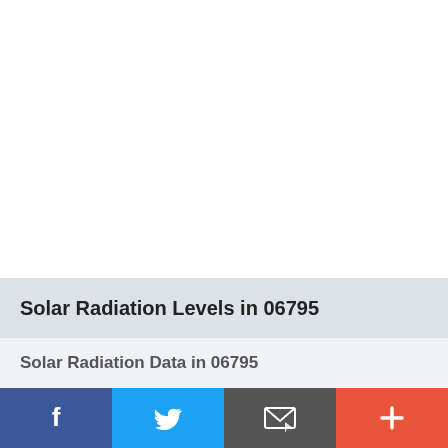Solar Radiation Levels in 06795
Solar Radiation Data in 06795
[Figure (other): Social sharing bar with Facebook, Twitter, Email, and More buttons]